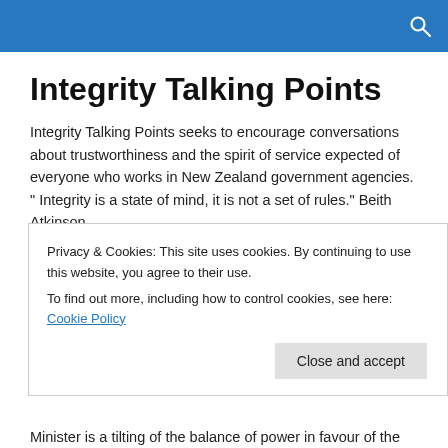Integrity Talking Points
Integrity Talking Points seeks to encourage conversations about trustworthiness and the spirit of service expected of everyone who works in New Zealand government agencies. " Integrity is a state of mind, it is not a set of rules." Beith Atkinson
Chooks getting the better of the fox?
Privacy & Cookies: This site uses cookies. By continuing to use this website, you agree to their use.
To find out more, including how to control cookies, see here: Cookie Policy
Minister is a tilting of the balance of power in favour of the